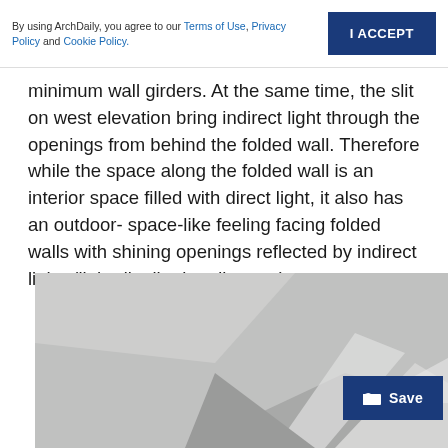By using ArchDaily, you agree to our Terms of Use, Privacy Policy and Cookie Policy.
minimum wall girders. At the same time, the slit on west elevation bring indirect light through the openings from behind the folded wall. Therefore while the space along the folded wall is an interior space filled with direct light, it also has an outdoor- space-like feeling facing folded walls with shining openings reflected by indirect light. (light distribution diagram)
[Figure (illustration): Architectural light distribution diagram showing a folded wall interior with polygonal geometric surfaces rendered in shades of gray, simulating indirect light effects through openings. A dark blue 'Save' button overlays the bottom-right of the image.]